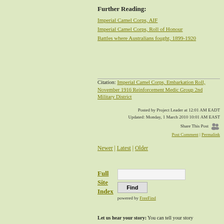Further Reading:
Imperial Camel Corps, AIF
Imperial Camel Corps, Roll of Honour
Battles where Australians fought, 1899-1920
Citation: Imperial Camel Corps, Embarkation Roll, November 1916 Reinforcement Medic Group 2nd Military District
Posted by Project Leader at 12:01 AM EADT
Updated: Monday, 1 March 2010 10:01 AM EAST
Share This Post
Post Comment | Permalink
Newer | Latest | Older
Full Site Index
powered by FreeFind
Let us hear your story: You can tell your story